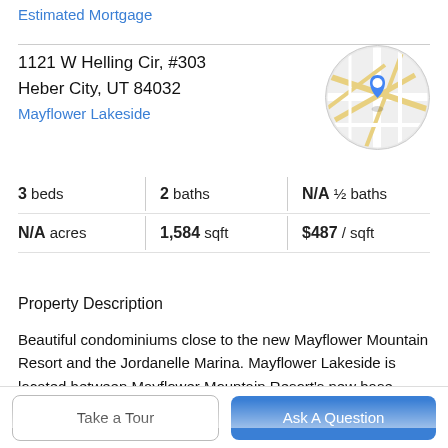Estimated Mortgage
1121 W Helling Cir, #303
Heber City, UT 84032
Mayflower Lakeside
[Figure (map): Circular map thumbnail with a blue location pin marker on a street map showing road intersections]
3 beds  |  2 baths  |  N/A ½ baths
N/A acres  |  1,584 sqft  |  $487 / sqft
Property Description
Beautiful condominiums close to the new Mayflower Mountain Resort and the Jordanelle Marina. Mayflower Lakeside is located between Mayflower Mountain Resort's new base village and the Jordanelle Reservoir. This new development is 5-acres in the making with beautiful
Take a Tour
Ask A Question